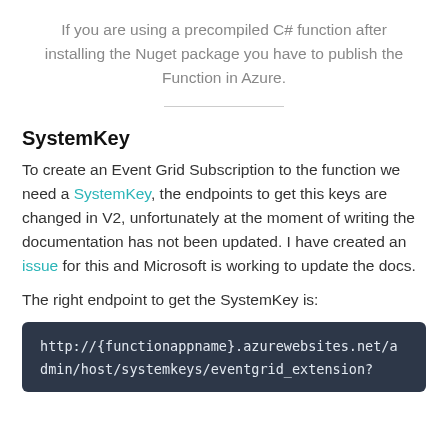If you are using a precompiled C# function after installing the Nuget package you have to publish the Function in Azure.
SystemKey
To create an Event Grid Subscription to the function we need a SystemKey, the endpoints to get this keys are changed in V2, unfortunately at the moment of writing the documentation has not been updated. I have created an issue for this and Microsoft is working to update the docs.
The right endpoint to get the SystemKey is:
http://{functionappname}.azurewebsites.net/admin/host/systemkeys/eventgrid_extension?